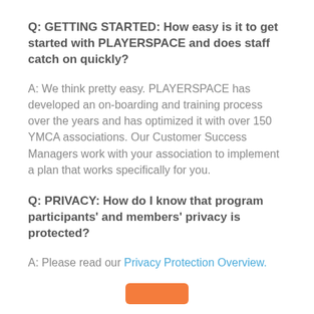Q: GETTING STARTED: How easy is it to get started with PLAYERSPACE and does staff catch on quickly?
A: We think pretty easy. PLAYERSPACE has developed an on-boarding and training process over the years and has optimized it with over 150 YMCA associations. Our Customer Success Managers work with your association to implement a plan that works specifically for you.
Q: PRIVACY: How do I know that program participants' and members' privacy is protected?
A: Please read our Privacy Protection Overview.